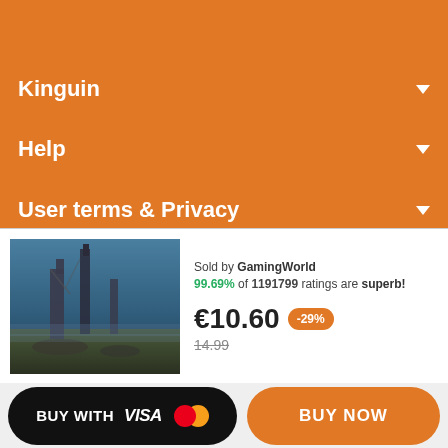Kinguin
Help
User terms & Privacy
[Figure (screenshot): Game scene showing a dark fantasy/post-apocalyptic landscape with ruined towers and structures]
Sold by GamingWorld
99.69% of 1191799 ratings are superb!
€10.60  -29%  14.99
[Figure (other): BUY WITH VISA Mastercard button (black rounded rectangle)]
[Figure (other): BUY NOW button (orange rounded rectangle)]